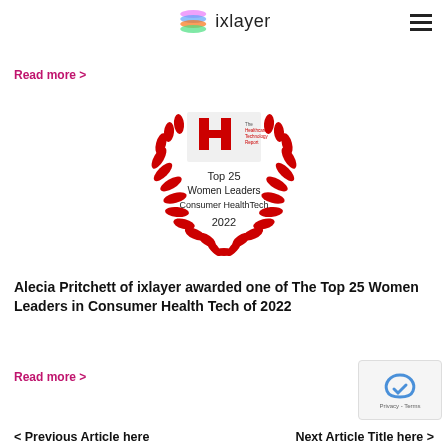ixlayer
Read more >
[Figure (illustration): Award badge: The Healthcare Technology Report – Top 25 Women Leaders Consumer HealthTech 2022, with red laurel wreath surrounding the logo and text]
Alecia Pritchett of ixlayer awarded one of The Top 25 Women Leaders in Consumer Health Tech of 2022
Read more >
< Previous Article here   Next Article Title here >